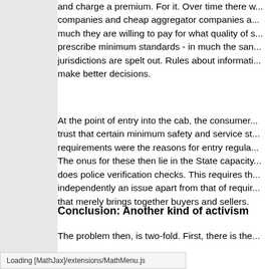and charge a premium. For it. Over time there will be companies and cheap aggregator companies a... much they are willing to pay for what quality of s... prescribe minimum standards - in much the sam... jurisdictions are spelt out. Rules about informati... make better decisions.
At the point of entry into the cab, the consumer... trust that certain minimum safety and service st... requirements were the reasons for entry regula... The onus for these then lie in the State capacity... does police verification checks. This requires th... independently an issue apart from that of requir... that merely brings together buyers and sellers.
Conclusion: Another kind of activism
The problem then, is two-fold. First, there is the... ...ting crime, which incent...
Loading [MathJax]/extensions/MathMenu.js